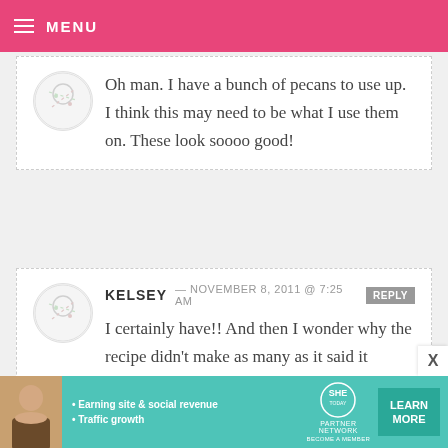MENU
Oh man. I have a bunch of pecans to use up. I think this may need to be what I use them on. These look soooo good!
KELSEY — NOVEMBER 8, 2011 @ 7:25 AM REPLY
I certainly have!! And then I wonder why the recipe didn't make as many as it said it would.... :)
[Figure (infographic): Advertisement banner for SHE Partner Network: Earning site & social revenue, Traffic growth. Learn More button.]